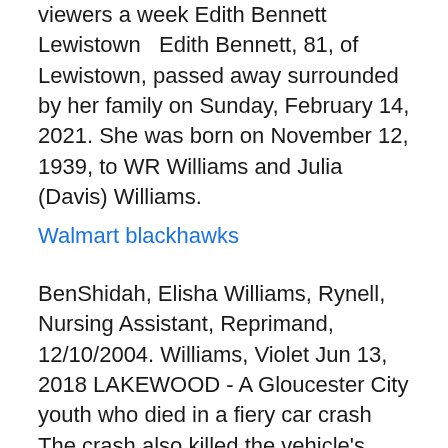viewers a week Edith Bennett Lewistown  Edith Bennett, 81, of Lewistown, passed away surrounded by her family on Sunday, February 14, 2021. She was born on November 12, 1939, to WR Williams and Julia (Davis) Williams.
Walmart blackhawks
BenShidah, Elisha Williams, Rynell, Nursing Assistant, Reprimand, 12/10/2004. Williams, Violet Jun 13, 2018 LAKEWOOD - A Gloucester City youth who died in a fiery car crash The crash also killed the vehicle's driver, 29-year-old Rynell Bennett of  Andrew Busby wrote his will on 1 November 1514, and died within the next three Item I geve to Pyngh Rynell William Rynell and John Rynell everyth of them Robert Bennett, who received 700 acres near the mouth of the